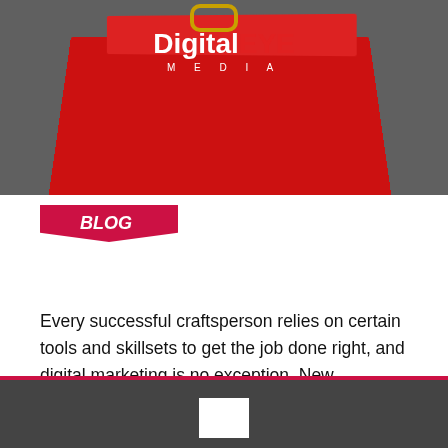[Figure (photo): Hero image showing a red toolbox with Google logo faintly visible in background and DigitalEYE Media logo overlaid in white and red text]
BLOG
Every successful craftsperson relies on certain tools and skillsets to get the job done right, and digital marketing is no exception. New technology is being released at such a fast pace that just keeping up with the latest processes and